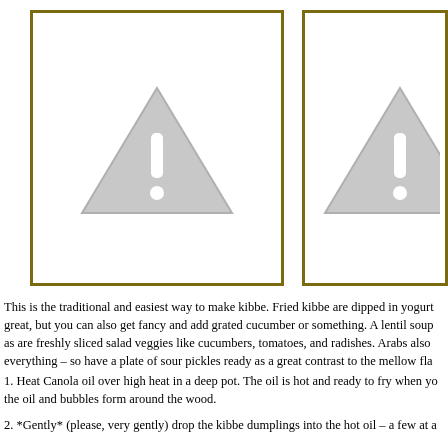[Figure (illustration): Placeholder image box with a grey warning/caution triangle icon (exclamation mark) centered inside a gold-bordered white rectangle.]
[Figure (illustration): Partially visible placeholder image box with a grey warning/caution triangle icon (exclamation mark) centered inside a gold-bordered white rectangle — cropped on the right side.]
This is the traditional and easiest way to make kibbe. Fried kibbe are dipped in yogurt great, but you can also get fancy and add grated cucumber or something. A lentil soup as are freshly sliced salad veggies like cucumbers, tomatoes, and radishes. Arabs also everything – so have a plate of sour pickles ready as a great contrast to the mellow fla
1. Heat Canola oil over high heat in a deep pot. The oil is hot and ready to fry when yo the oil and bubbles form around the wood.
2. *Gently* (please, very gently) drop the kibbe dumplings into the hot oil – a few at a